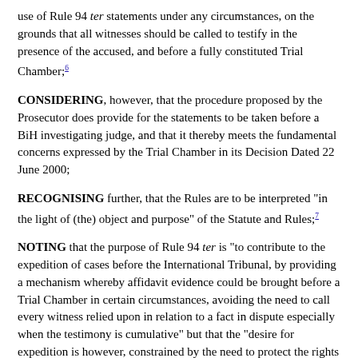use of Rule 94 ter statements under any circumstances, on the grounds that all witnesses should be called to testify in the presence of the accused, and before a fully constituted Trial Chamber;6
CONSIDERING, however, that the procedure proposed by the Prosecutor does provide for the statements to be taken before a BiH investigating judge, and that it thereby meets the fundamental concerns expressed by the Trial Chamber in its Decision Dated 22 June 2000;
RECOGNISING further, that the Rules are to be interpreted "in the light of (the) object and purpose" of the Statute and Rules;7
NOTING that the purpose of Rule 94 ter is "to contribute to the expedition of cases before the International Tribunal, by providing a mechanism whereby affidavit evidence could be brought before a Trial Chamber in certain circumstances, avoiding the need to call every witness relied upon in relation to a fact in dispute especially when the testimony is cumulative" but that the "desire for expedition is however, constrained by the need to protect the rights of an accused.";8
EMPHASISING that, pursuant to Articles 20 and 22 of the Statute, and Rule 75, the Tribunal has a duty to take into account